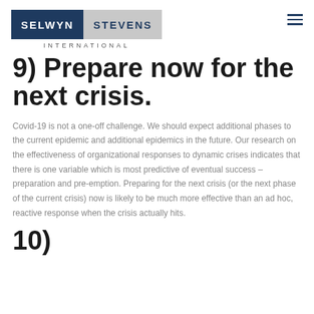SELWYN STEVENS INTERNATIONAL
9) Prepare now for the next crisis.
Covid-19 is not a one-off challenge. We should expect additional phases to the current epidemic and additional epidemics in the future. Our research on the effectiveness of organizational responses to dynamic crises indicates that there is one variable which is most predictive of eventual success – preparation and pre-emption. Preparing for the next crisis (or the next phase of the current crisis) now is likely to be much more effective than an ad hoc, reactive response when the crisis actually hits.
10)